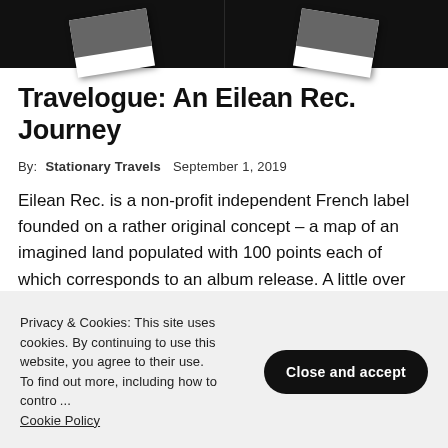[Figure (photo): Two white photo cards/books on a dark black background, photographed from above]
Travelogue: An Eilean Rec. Journey
By:  Stationary Travels   September 1, 2019
Eilean Rec. is a non-profit independent French label founded on a rather original concept – a map of an imagined land populated with 100 points each of which corresponds to an album release. A little over five years since it began, that map is nearly complete and during that time, the label has introduced us to...
Privacy & Cookies: This site uses cookies. By continuing to use this website, you agree to their use. To find out more, including how to control cookies, see here: Cookie Policy   Close and accept